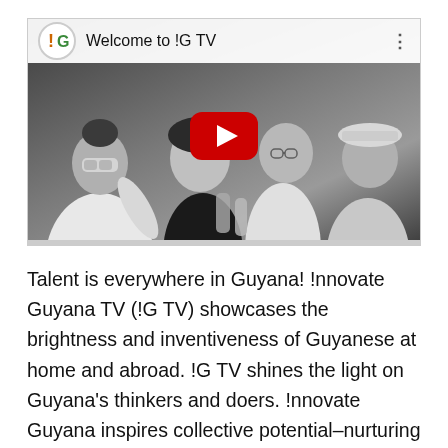[Figure (screenshot): YouTube video thumbnail showing 'Welcome to !G TV' with the Innovate Guyana logo (exclamation mark and G on green/orange background in a circle). Four people in grayscale photo behind a YouTube play button — a woman in lab coat with goggles, a smiling woman, a man with glasses, and a man in hard hat.]
Talent is everywhere in Guyana! !nnovate Guyana TV (!G TV) showcases the brightness and inventiveness of Guyanese at home and abroad. !G TV shines the light on Guyana's thinkers and doers. !nnovate Guyana inspires collective potential–nurturing and supporting standout ideas, providing a support system, and